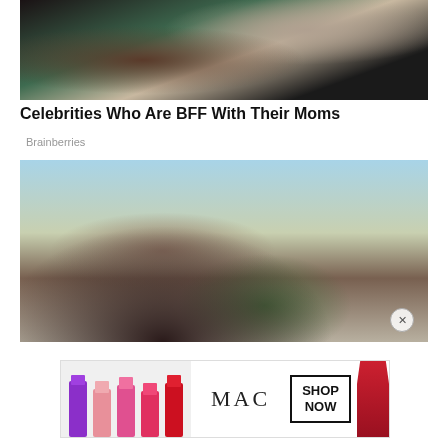[Figure (photo): Two people embracing, one with dark curly hair wearing green, another in dark clothing with a watch]
Celebrities Who Are BFF With Their Moms
Brainberries
[Figure (photo): Woman with long dark hair wearing a gray sports bra top, standing outdoors]
[Figure (photo): MAC cosmetics advertisement showing lipsticks with SHOP NOW button]